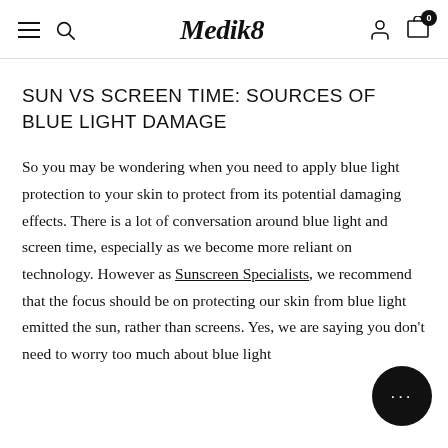Medik8
SUN VS SCREEN TIME: SOURCES OF BLUE LIGHT DAMAGE
So you may be wondering when you need to apply blue light protection to your skin to protect from its potential damaging effects. There is a lot of conversation around blue light and screen time, especially as we become more reliant on technology. However as Sunscreen Specialists, we recommend that the focus should be on protecting our skin from blue light emitted the sun, rather than screens. Yes, we are saying you don't need to worry too much about blue light